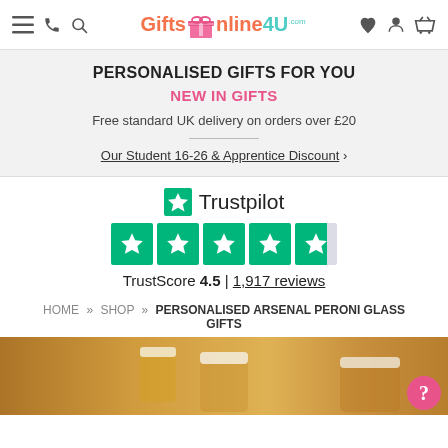[Figure (logo): GiftsOnline4U.com logo with colorful text and gift box icon]
PERSONALISED GIFTS FOR YOU
NEW IN GIFTS
Free standard UK delivery on orders over £20
Our Student 16-26 & Apprentice Discount >
[Figure (logo): Trustpilot logo with green star icon and 4.5 rating shown as 5 green star boxes. TrustScore 4.5 | 1,917 reviews]
TrustScore 4.5 | 1,917 reviews
HOME » SHOP » PERSONALISED ARSENAL PERONI GLASS GIFTS
[Figure (photo): Beer glasses on a warm golden-toned background]